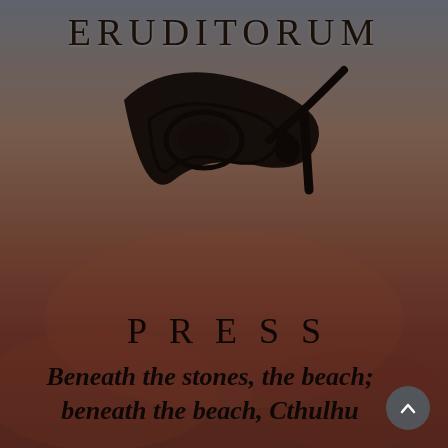ERUDITORUM
[Figure (logo): Eruditorum Press logo: stylized cursive 'ep' monogram in black with sweeping letterforms]
PRESS
Beneath the stones, the beach; beneath the beach, Cthulhu